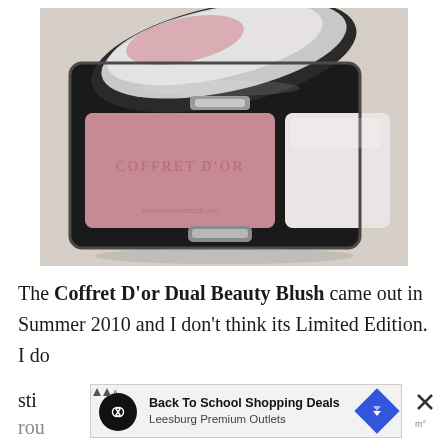[Figure (photo): A Coffret D'or Dual Beauty Blush compact makeup palette with pink blush and white/ivory highlighter powder, open to show the product inside with a mirror lid, placed on a light linen fabric background. The compact is black with silver accents.]
The Coffret D'or Dual Beauty Blush came out in Summer 2010 and I don't think its Limited Edition. I do
[Figure (screenshot): An advertisement banner for 'Back To School Shopping Deals' from Leesburg Premium Outlets, with a circular black icon with infinity-like symbol, a blue diamond-shaped arrow, and a close button with X.]